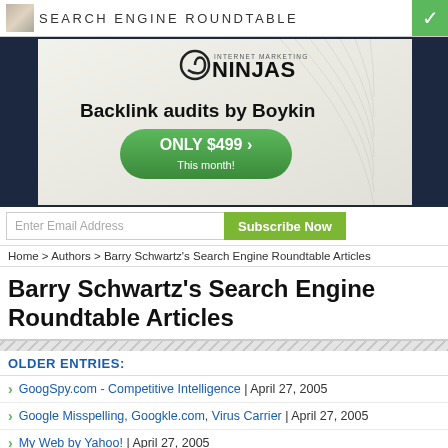SEARCH ENGINE ROUNDTABLE
[Figure (infographic): Internet Marketing Ninjas advertisement banner: 'Backlink audits by Boykin ONLY $499 This month!']
Enter Email Address | Subscribe Now
Home > Authors > Barry Schwartz's Search Engine Roundtable Articles
Barry Schwartz's Search Engine Roundtable Articles
OLDER ENTRIES:
GoogSpy.com - Competitive Intelligence | April 27, 2005
Google Misspelling, Googkle.com, Virus Carrier | April 27, 2005
My Web by Yahoo! | April 27, 2005
Multiply Finds What's Been Published in Your Social Network | April 26, 2005